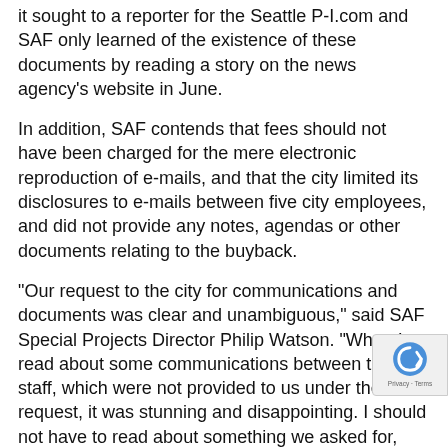it sought to a reporter for the Seattle P-I.com and SAF only learned of the existence of these documents by reading a story on the news agency's website in June.
In addition, SAF contends that fees should not have been charged for the mere electronic reproduction of e-mails, and that the city limited its disclosures to e-mails between five city employees, and did not provide any notes, agendas or other documents relating to the buyback.
"Our request to the city for communications and documents was clear and unambiguous," said SAF Special Projects Director Philip Watson. "When I read about some communications between the staff, which were not provided to us under the PRA request, it was stunning and disappointing. I should not have to read about something we asked for, and were denied, in a newspaper article months after our request."
"Mayor Mike McGinn's staff appears to have been playing games," said SAF Executive Vice President Alan Gottlieb. "This is not a game. Government, regardless what level, needs to be accountable and transparent. If the McGinn administration believes it is above meeting the requirements of the law, they need to rethink that position."